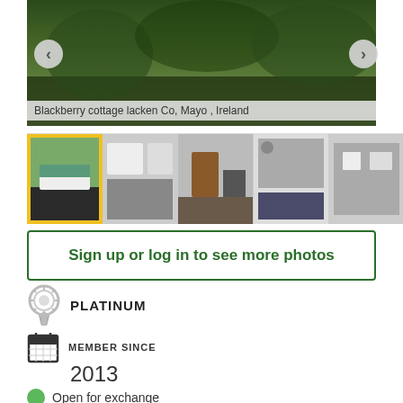[Figure (photo): Main gallery photo of Blackberry cottage garden/exterior with navigation arrows]
Blackberry cottage lacken Co, Mayo , Ireland
[Figure (photo): Row of 5 thumbnail photos of the cottage interior and exterior]
Sign up or log in to see more photos
PLATINUM
MEMBER SINCE
2013
Open for exchange